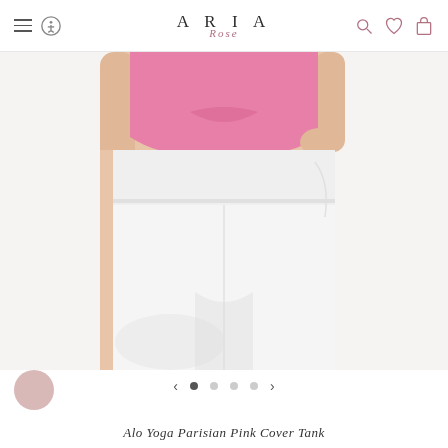ARIA Rose — navigation header with hamburger menu, accessibility icon, logo, search, wishlist, and bag icons
[Figure (photo): Product photo of a woman wearing white high-waist yoga leggings and a pink crop top, cropped to show torso and upper thighs]
[Figure (other): Dusty pink circular color swatch thumbnail for product color variant]
Carousel navigation with left arrow, four dots (first dot active/filled), right arrow
Alo Yoga Parisian Pink Cover Tank